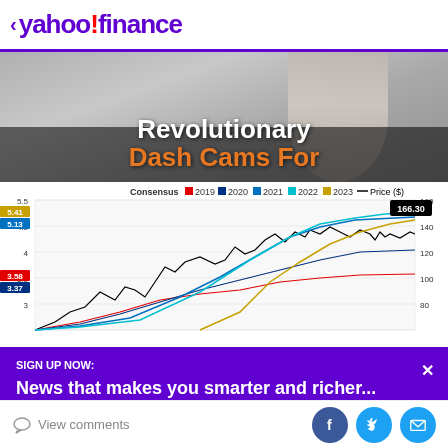< yahoo!finance
[Figure (photo): Advertisement banner showing man in suit with text 'Revolutionary Dash Cams For']
[Figure (line-chart): Multi-line stock price chart with EPS consensus estimates. Price shown at 166.30. Left axis shows EPS values 3-5.41, right axis shows price 80-160+.]
SIGN UP NOW: News that makes you smarter and richer... For free.
View comments